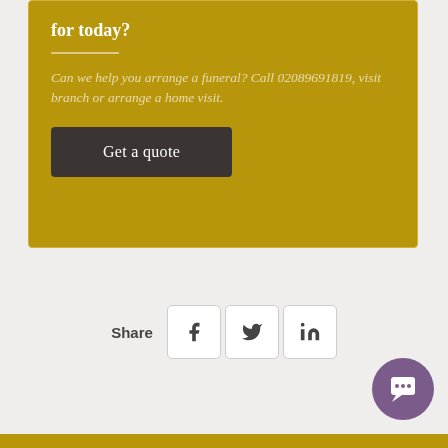for today?
Can we help you arrange a funeral? Call 02089691819, visit branch or arrange a home visit.
Get a quote
Share
[Figure (other): Chat bubble icon (purple circle with speech bubble icon)]